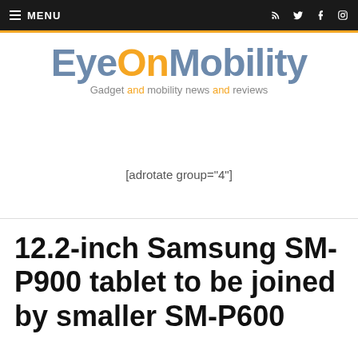≡ MENU
[Figure (logo): EyeOnMobility logo with tagline: Gadget and mobility news and reviews]
[adrotate group="4"]
12.2-inch Samsung SM-P900 tablet to be joined by smaller SM-P600